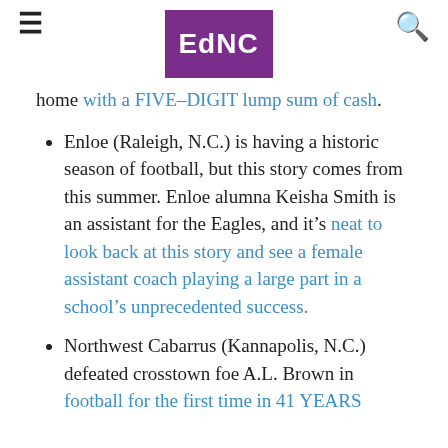EdNC
home with a FIVE-DIGIT lump sum of cash.
Enloe (Raleigh, N.C.) is having a historic season of football, but this story comes from this summer. Enloe alumna Keisha Smith is an assistant for the Eagles, and it's neat to look back at this story and see a female assistant coach playing a large part in a school's unprecedented success.
Northwest Cabarrus (Kannapolis, N.C.) defeated crosstown foe A.L. Brown in football for the first time in 41 YEARS